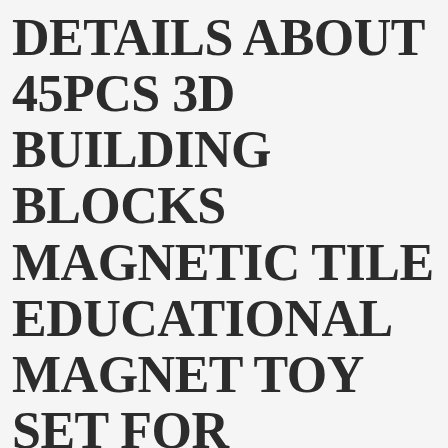DETAILS ABOUT 45PCS 3D BUILDING BLOCKS MAGNETIC TILE EDUCATIONAL MAGNET TOY SET FOR BOYS/GIRLS
Edit   Watching   Bidding Too
Building Toy Sets & Kits
Details about  45PCS 3D Building Blocks Magnetic Tile Educational